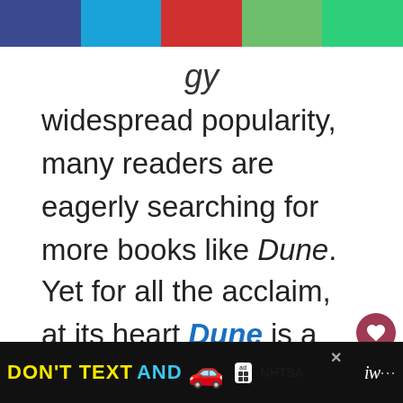[Figure (other): Colored navigation/social bar with five color segments: dark blue, light blue, red, light green, green]
gy
widespread popularity, many readers are eagerly searching for more books like Dune.
Yet for all the acclaim, at its heart Dune is a story about one boy's growth to adulthood and eventual rule over a vast interstellar empire centred on the desert planet of Arrakis. Paul Atreides' attempts to
[Figure (other): DON'T TEXT AND [car emoji] advertisement banner by NHTSA at bottom of page]